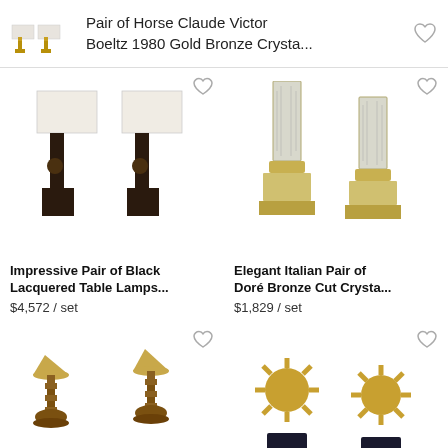Pair of Horse Claude Victor Boeltz 1980 Gold Bronze Crysta...
[Figure (photo): Pair of black lacquered table lamps with cream shades]
Impressive Pair of Black Lacquered Table Lamps...
$4,572 / set
[Figure (photo): Elegant Italian pair of Doré bronze cut crystal lamps]
Elegant Italian Pair of Doré Bronze Cut Crysta...
$1,829 / set
[Figure (photo): Antique pair of bronze table lamps with gold shades]
Antique Pair of Bronze...
[Figure (photo): Pair of atomic starburst table lamps on dark bases]
Pair of Atomic Table...